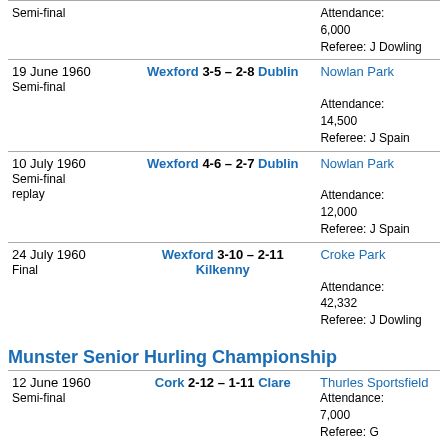| Date/Type | Match | Venue/Details |
| --- | --- | --- |
| Semi-final |  | Attendance: 6,000
Referee: J Dowling |
| 19 June 1960
Semi-final | Wexford 3-5 – 2-8 Dublin | Nowlan Park

Attendance: 14,500
Referee: J Spain |
| 10 July 1960
Semi-final replay | Wexford 4-6 – 2-7 Dublin | Nowlan Park

Attendance: 12,000
Referee: J Spain |
| 24 July 1960
Final | Wexford 3-10 – 2-11 Kilkenny | Croke Park

Attendance: 42,332
Referee: J Dowling |
Munster Senior Hurling Championship
| Date/Type | Match | Venue/Details |
| --- | --- | --- |
| 12 June 1960
Semi-final | Cork 2-12 – 1-11 Clare | Thurles Sportsfield
Attendance: 7,000
Referee: G |